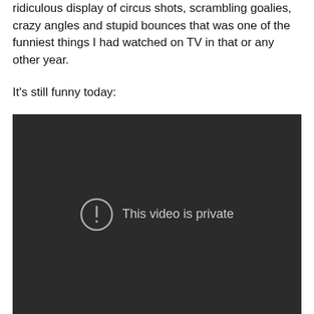ridiculous display of circus shots, scrambling goalies, crazy angles and stupid bounces that was one of the funniest things I had watched on TV in that or any other year.
It's still funny today:
[Figure (screenshot): Embedded video player showing a dark background with a circle exclamation icon and the text 'This video is private']